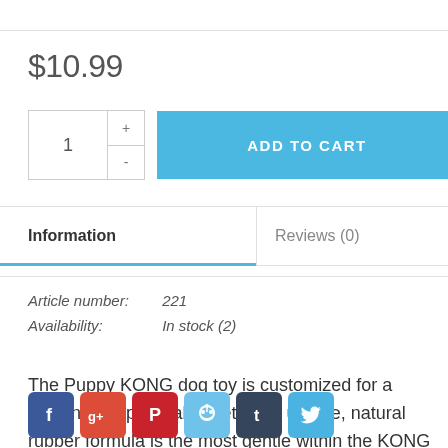$10.99
ADD TO CART
Information
Reviews (0)
Article number: 221
Availability: In stock (2)
The Puppy KONG dog toy is customized for a growing puppy's baby teeth, the unique, natural rubber formula is the most gentle within the KONG rubber toy line. Designed to meet the
[Figure (infographic): Social media share buttons: Facebook, Google+, Pinterest, Reddit, Tumblr, Twitter]